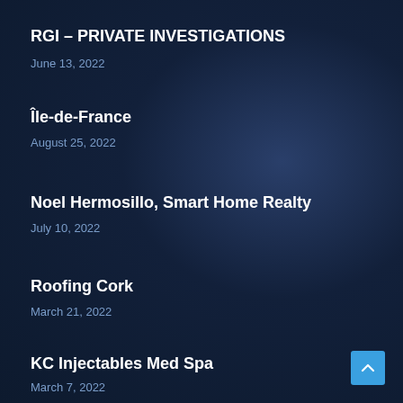RGI – PRIVATE INVESTIGATIONS
June 13, 2022
Île-de-France
August 25, 2022
Noel Hermosillo, Smart Home Realty
July 10, 2022
Roofing Cork
March 21, 2022
KC Injectables Med Spa
March 7, 2022